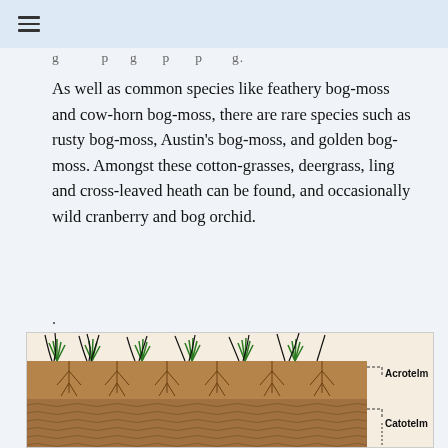g p g p p g
As well as common species like feathery bog-moss and cow-horn bog-moss, there are rare species such as rusty bog-moss, Austin's bog-moss, and golden bog-moss. Amongst these cotton-grasses, deergrass, ling and cross-leaved heath can be found, and occasionally wild cranberry and bog orchid.
.
[Figure (illustration): Cross-section diagram of a bog showing plant stems growing above ground and root structures below in brown peat soil. Two layers are labelled: Acrotelm (upper layer) and Catotelm (lower layer), indicated by dashed lines on the right side.]